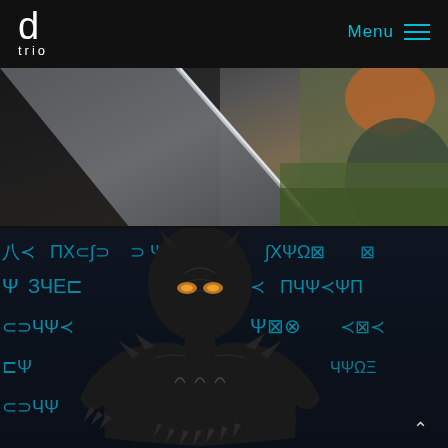d trio — Menu (navigation bar with logo and hamburger menu)
[Figure (photo): Top cinematic movie still: a diagonal sword or blade shape against a dark grey background with a figure with red/orange hair visible on the right side, appearing to be from a Marvel film.]
[Figure (photo): Black Panther character in full black armored suit with glowing amber eyes, crouching in an aggressive pose against a dark background covered in glowing cyan Wakandan script symbols. This is promotional artwork from the Marvel Black Panther film.]